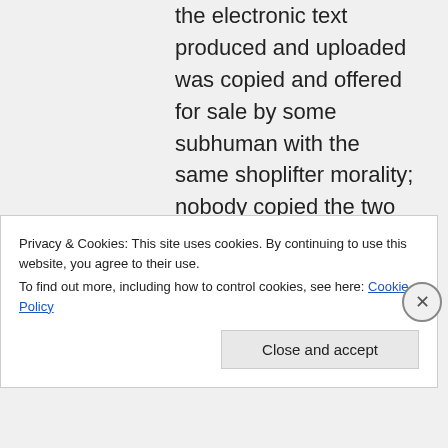the electronic text produced and uploaded was copied and offered for sale by some subhuman with the same shoplifter morality; nobody copied the two articles from the forum “Lincoln and his Dick” (and, bitch
Privacy & Cookies: This site uses cookies. By continuing to use this website, you agree to their use.
To find out more, including how to control cookies, see here: Cookie Policy